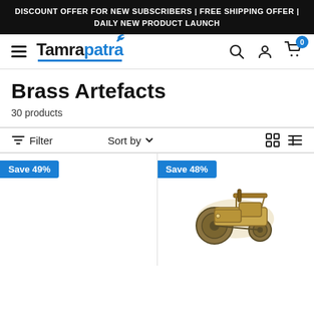DISCOUNT OFFER FOR NEW SUBSCRIBERS | FREE SHIPPING OFFER | DAILY NEW PRODUCT LAUNCH
[Figure (logo): Tamrapatra logo with hamburger menu, search, user, and cart icons]
Brass Artefacts
30 products
Filter   Sort by   [grid view] [list view]
[Figure (other): Product card with Save 49% badge, empty product area]
[Figure (photo): Product card with Save 48% badge and brass tractor figurine image]